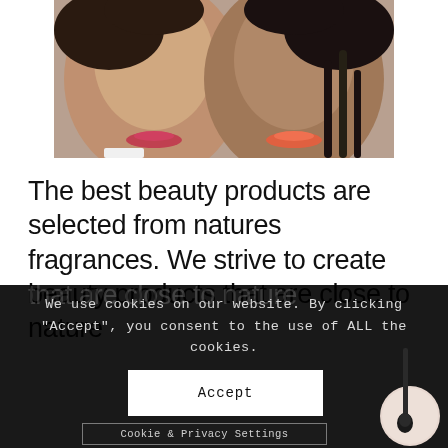[Figure (photo): Two women with natural beauty looks, close-up portrait showing faces with lips visible, one wearing pink lipstick and one wearing red-orange lipstick]
The best beauty products are selected from natures fragrances. We strive to create beauty products that are close to nature
We use cookies on our website. By clicking “Accept”, you consent to the use of ALL the cookies.
Accept
Cookie & Privacy Settings
[Figure (photo): Makeup brush with a round powder puff/disc, shown in the bottom right corner against dark background]